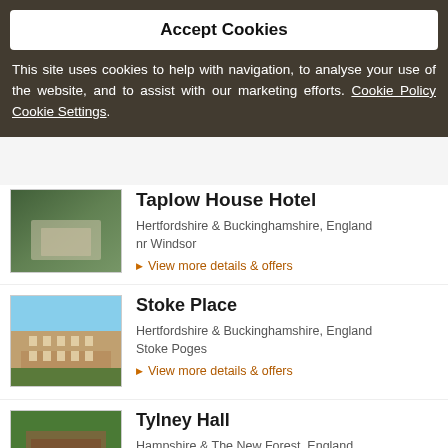Accept Cookies
This site uses cookies to help with navigation, to analyse your use of the website, and to assist with our marketing efforts. Cookie Policy Cookie Settings.
Taplow House Hotel
Hertfordshire & Buckinghamshire, England
nr Windsor
▶ View more details & offers
Stoke Place
Hertfordshire & Buckinghamshire, England
Stoke Poges
▶ View more details & offers
Tylney Hall
Hampshire & The New Forest, England
Rotherwick
▶ View more details & offers